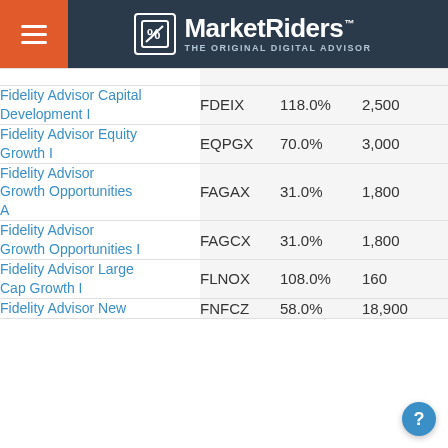MarketRiders — THE ORIGINAL DIGITAL ADVISOR
| Fund Name | Ticker | Return | Min |
| --- | --- | --- | --- |
| Fidelity Advisor Capital Development I | FDEIX | 118.0% | 2,500 |
| Fidelity Advisor Equity Growth I | EQPGX | 70.0% | 3,000 |
| Fidelity Advisor Growth Opportunities A | FAGAX | 31.0% | 1,800 |
| Fidelity Advisor Growth Opportunities I | FAGCX | 31.0% | 1,800 |
| Fidelity Advisor Large Cap Growth I | FLNOX | 108.0% | 160 |
| Fidelity Advisor New | FNFCZ | 58.0% | 18,900 |